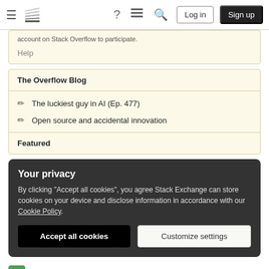Stack Overflow navigation bar with hamburger menu, logo, help, chat, search icons, Log in and Sign up buttons
account on Stack Overflow to participate.
Help
The Overflow Blog
The luckiest guy in AI (Ep. 477)
Open source and accidental innovation
Featured
Your privacy
By clicking "Accept all cookies", you agree Stack Exchange can store cookies on your device and disclose information in accordance with our Cookie Policy.
Accept all cookies    Customize settings
Is this Q/A a good fit for Stack Overflow?